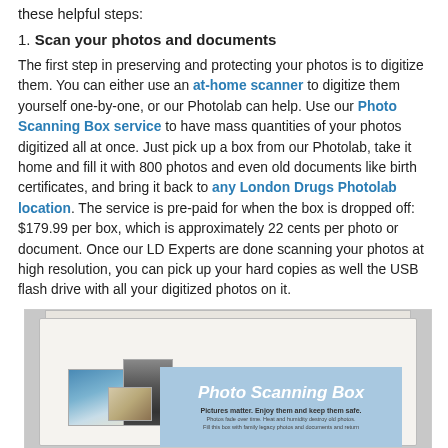these helpful steps:
1. Scan your photos and documents
The first step in preserving and protecting your photos is to digitize them. You can either use an at-home scanner to digitize them yourself one-by-one, or our Photolab can help. Use our Photo Scanning Box service to have mass quantities of your photos digitized all at once. Just pick up a box from our Photolab, take it home and fill it with 800 photos and even old documents like birth certificates, and bring it back to any London Drugs Photolab location. The service is pre-paid for when the box is dropped off: $179.99 per box, which is approximately 22 cents per photo or document. Once our LD Experts are done scanning your photos at high resolution, you can pick up your hard copies as well the USB flash drive with all your digitized photos on it.
[Figure (photo): Photo of a Photo Scanning Box product, a white cardboard box with a light blue label reading 'Photo Scanning Box' with photos visible inside/around the box.]